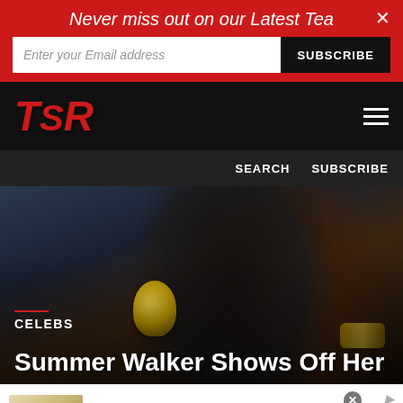Never miss out on our Latest Tea
Enter your Email address
SUBSCRIBE
[Figure (logo): TSR logo in red italic bold lettering on black background with hamburger menu icon]
SEARCH   SUBSCRIBE
[Figure (photo): Close-up photo of Summer Walker, a woman with long straight black hair, gold hoop earrings, and gold bracelet, looking off camera]
CELEBS
Summer Walker Shows Off Her
[Figure (other): Advertisement for Cheryl's Cookie Delivery showing cookie/food image on left, ad text in center, and blue circular arrow button on right]
Cheryl's: Cookie Delivery
gourmet brownies, cakes, cookies and cookie gift baskets
www.cheryls.com